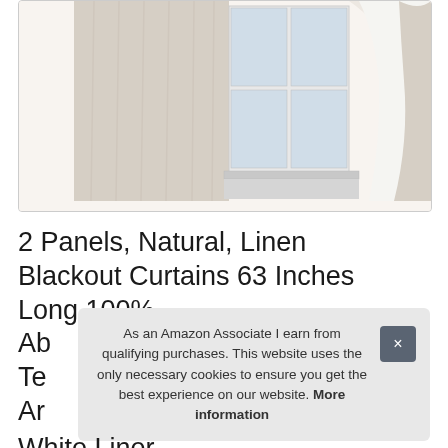[Figure (photo): Product photo of linen blackout curtains hanging in front of a window. Left panel shows beige/natural linen curtain fully closed, middle shows a white window frame with grid panes, right panel shows curtain pulled back revealing white lining.]
2 Panels, Natural, Linen Blackout Curtains 63 Inches Long 100% Ab... Te... Ar... White Liner
As an Amazon Associate I earn from qualifying purchases. This website uses the only necessary cookies to ensure you get the best experience on our website. More information